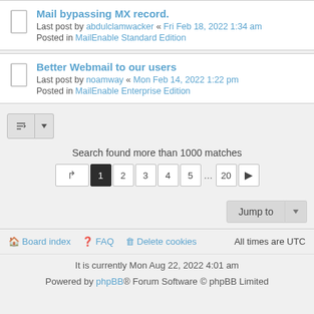Mail bypassing MX record.
Last post by abdulclamwacker « Fri Feb 18, 2022 1:34 am
Posted in MailEnable Standard Edition
Better Webmail to our users
Last post by noamway « Mon Feb 14, 2022 1:22 pm
Posted in MailEnable Enterprise Edition
Search found more than 1000 matches
↱  1  2  3  4  5  ...  20  ▶
Jump to
Board index   FAQ   Delete cookies   All times are UTC
It is currently Mon Aug 22, 2022 4:01 am
Powered by phpBB® Forum Software © phpBB Limited